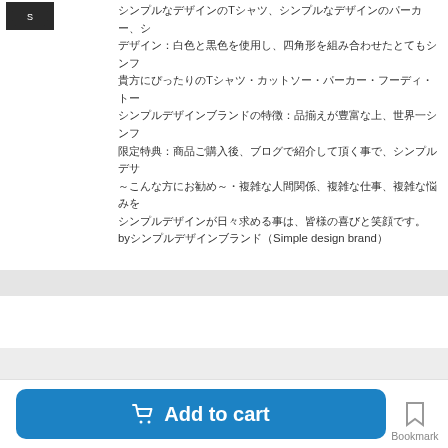シンプルなデザインのTシャツ、シンプルなデザインのパーカー、シデザイン：白色と黒色を使用し、四角形を組み合わせたとてもシンフ貴方にぴったりのTシャツ・カットソー・パーカー・フーディ・トーシンプルデザインブランドの特徴：品揃えが豊富な上、世界一シンフ限定特典：商品ご購入後、ブログで紹介して頂く事で、シンプルデサ～こんな方にお勧め～・複雑な人間関係、複雑な仕事、複雑な悩みをシンプルデザインが日々求める事は、皆様の喜びと笑顔です。byシンプルデザインブランド（Simple design brand）
[Figure (other): Gray horizontal divider bar]
[Figure (other): Light gray section divider bar]
[Figure (other): Add to cart button (blue, rounded) with shopping cart icon and Bookmark icon to the right]